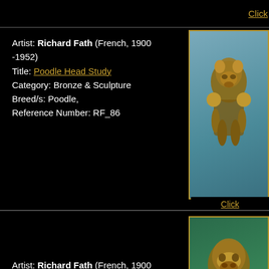Click
[Figure (photo): Bronze poodle head sculpture on teal/blue background]
Artist: Richard Fath (French, 1900-1952)
Title: Poodle Head Study
Category: Bronze & Sculpture
Breed/s: Poodle,
Reference Number: RF_86
Click
[Figure (photo): Bronze pug head sculpture on green background with wooden base]
Artist: Richard Fath (French, 1900-1952)
Title: Pug Head Study
Category: Bronze & Sculpture
Breed/s: Pug,
Reference Number: RF_4
Click
Artist: Richard Fath (French, 1900-1952)